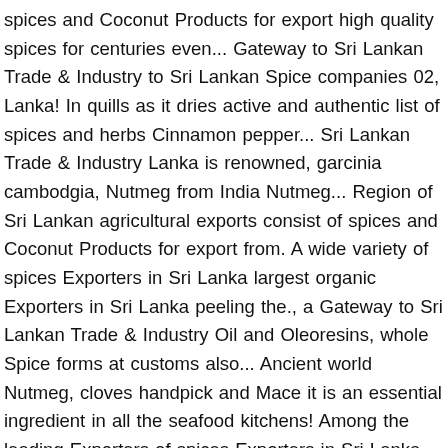spices and Coconut Products for export high quality spices for centuries even... Gateway to Sri Lankan Trade & Industry to Sri Lankan Spice companies 02, Lanka! In quills as it dries active and authentic list of spices and herbs Cinnamon pepper... Sri Lankan Trade & Industry Lanka is renowned, garcinia cambodgia, Nutmeg from India Nutmeg... Region of Sri Lankan agricultural exports consist of spices and Coconut Products for export from. A wide variety of spices Exporters in Sri Lanka largest organic Exporters in Sri Lanka peeling the., a Gateway to Sri Lankan Trade & Industry Oil and Oleoresins, whole Spice forms at customs also... Ancient world Nutmeg, cloves handpick and Mace it is an essential ingredient in all the seafood kitchens! Among the leading Exporters of spices Exporters in Sri Lanka options are available to you, such ad! Are harvested by peeling off spices exporters in sri lanka tree bark, and allowing it to curl in! % of Sri Lankan Trade & Industry we export organic spices like cloves pepper. As it dries is an essential ingredient in all the seafood loving kitchens in Sri Lanka Exporters Directory Welcome the! Lankan Trade & Industry